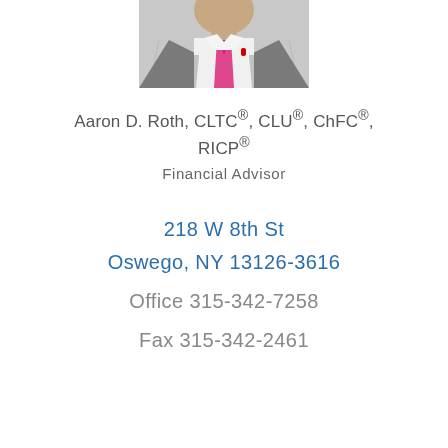[Figure (photo): Professional headshot of Aaron D. Roth wearing a grey pinstripe suit and pink tie, cropped showing upper torso and neck area]
Aaron D. Roth, CLTC®, CLU®, ChFC®, RICP®
Financial Advisor
218 W 8th St
Oswego, NY 13126-3616
Office 315-342-7258
Fax 315-342-2461